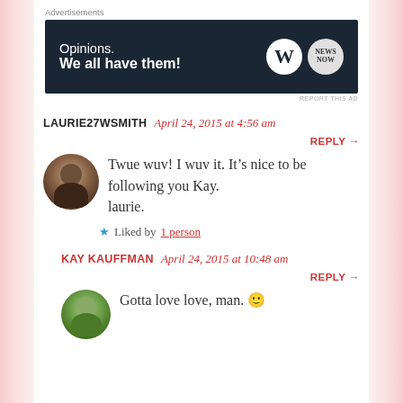[Figure (screenshot): Advertisement banner with dark navy background reading 'Opinions. We all have them!' with WordPress and another logo]
LAURIE27WSMITH   April 24, 2015 at 4:56 am
REPLY →
Twue wuv! I wuv it. It's nice to be following you Kay.
laurie.
★ Liked by 1 person
KAY KAUFFMAN   April 24, 2015 at 10:48 am
REPLY →
Gotta love love, man. 🙂